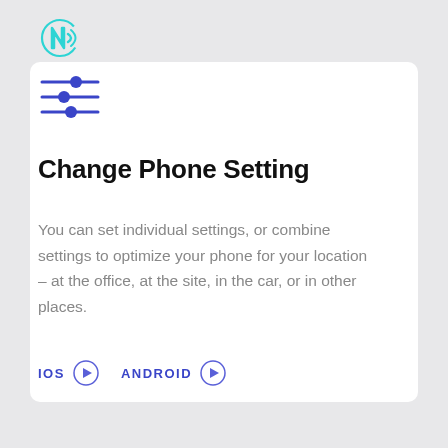[Figure (logo): NFC wireless signal icon in teal/cyan color]
[Figure (illustration): Three horizontal blue lines with circular slider controls representing settings/filter icon]
Change Phone Setting
You can set individual settings, or combine settings to optimize your phone for your location – at the office, at the site, in the car, or in other places.
IOS  ANDROID